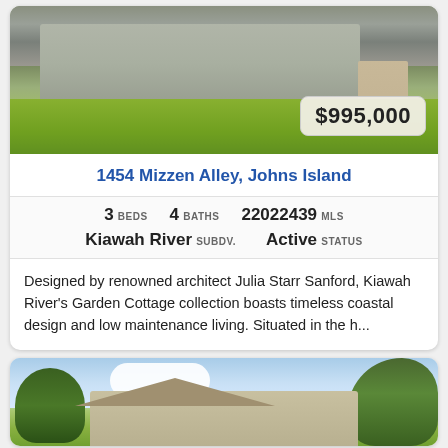[Figure (photo): Exterior photo of a coastal-style home with green lawn and landscaping, price badge showing $995,000]
1454 Mizzen Alley, Johns Island
3 BEDS  4 BATHS  22022439 MLS
Kiawah River SUBDV.  Active STATUS
Designed by renowned architect Julia Starr Sanford, Kiawah River's Garden Cottage collection boasts timeless coastal design and low maintenance living. Situated in the h...
[Figure (photo): Exterior photo of a house with palm trees and blue sky]